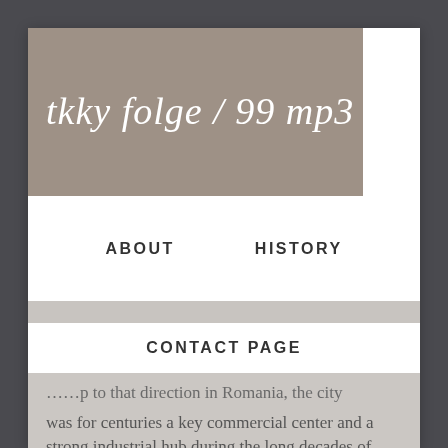tkky folge / 99 mp3
ABOUT   HISTORY
CONTACT PAGE
...p to that direction in Romania, the city was for centuries a key commercial center and a strong industrial hub during the long decades of communism when its name changed for 10 years to Stalin City. Population. Hungarian and Chinese). Die Stadt unter der Zinne liegt im gleichnamigen Kreis im Burzenland im